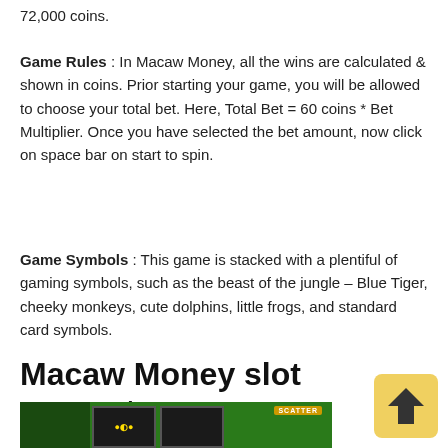72,000 coins.
Game Rules : In Macaw Money, all the wins are calculated & shown in coins. Prior starting your game, you will be allowed to choose your total bet. Here, Total Bet = 60 coins * Bet Multiplier. Once you have selected the bet amount, now click on space bar on start to spin.
Game Symbols : This game is stacked with a plentiful of gaming symbols, such as the beast of the jungle – Blue Tiger, cheeky monkeys, cute dolphins, little frogs, and standard card symbols.
Macaw Money slot pay-outs :
[Figure (screenshot): Bottom portion of a game screenshot showing the Macaw Money slot game interface with green background and a SCATTER badge visible]